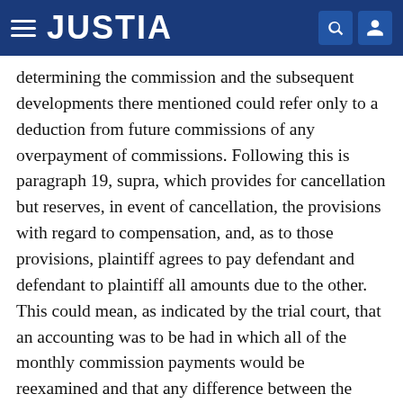JUSTIA
determining the commission and the subsequent developments there mentioned could refer only to a deduction from future commissions of any overpayment of commissions. Following this is paragraph 19, supra, which provides for cancellation but reserves, in event of cancellation, the provisions with regard to compensation, and, as to those provisions, plaintiff agrees to pay defendant and defendant to plaintiff all amounts due to the other. This could mean, as indicated by the trial court, that an accounting was to be had in which all of the monthly commission payments would be reexamined and that any difference between the parties offset [46 Cal. 2d 524] and the balance owed by one to the other, if any, paid. It could also mean that the commissions accruing after cancellation on business transacted before cancellation were to be computed in the same way as those before and that against those